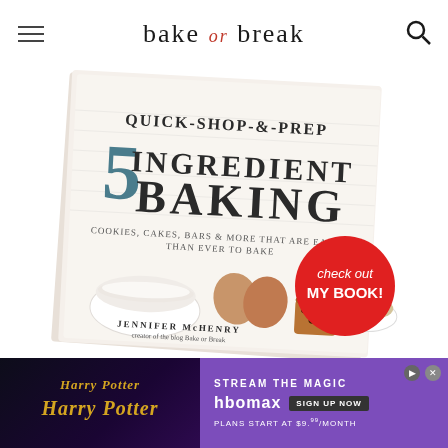bake or break
[Figure (photo): Book cover of 'Quick-Shop-&-Prep 5 Ingredient Baking' by Jennifer McHenry, creator of the blog Bake or Break. Cover shows baking ingredients including eggs, flour, chocolate chips, and oats in bowls. A red circular badge reads 'check out MY BOOK!']
[Figure (screenshot): Advertisement banner for Harry Potter on HBOMax. Left side shows Harry Potter logo on dark purple background. Right side on purple background shows 'STREAM THE MAGIC', HBOMax logo with 'SIGN UP NOW' button, and 'PLANS START AT $9.99/MONTH']